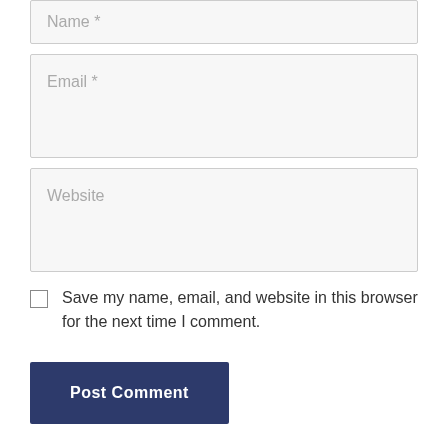Name *
Email *
Website
Save my name, email, and website in this browser for the next time I comment.
Post Comment
Home | About Us | Contact Us | Privacy Policy | Disclaimer
© 2022 Hello Grinder • Built with GeneratePress